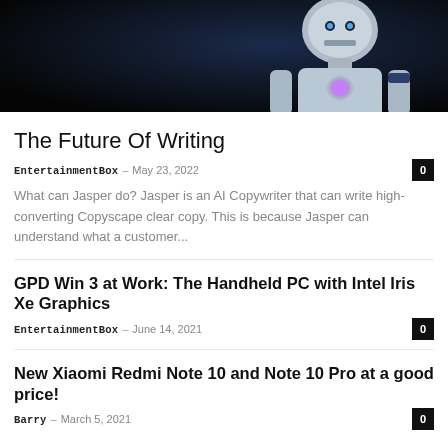[Figure (photo): Robot figure on dark background, white/grey humanoid robot with glowing purple chest element]
The Future Of Writing
EntertainmentBox  –  May 23, 2022   0
What can Jasper do? Jasper is an AI Copywriter that can write high-converting Copyscape clear copy. This is because Jasper can understand what a customer...
GPD Win 3 at Work: The Handheld PC with Intel Iris Xe Graphics
EntertainmentBox  –  June 14, 2021   0
New Xiaomi Redmi Note 10 and Note 10 Pro at a good price!
Barry  –  March 5, 2021   0